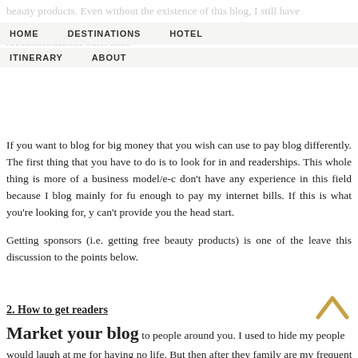HOME   DESTINATIONS   HOTEL   ITINERARY   ABOUT
beauty products. Even without the existence of this blog, I still have... Maybe I will share it with my friends via word of mouth. Having a b... I ... at is nice to ... hat is not worth to buy, where to sh...
If you want to blog for big money that you wish can use to pay... blog differently. The first thing that you have to do is to look for in... and readerships. This whole thing is more of a business model/e-c... don't have any experience in this field because I blog mainly for fu... enough to pay my internet bills. If this is what you're looking for, y... can't provide you the head start.
Getting sponsors (i.e. getting free beauty products) is one of the... leave this discussion to the points below.
2. How to get readers
Market your blog to people around you. I used to hide my... people would laugh at me for having no life. But then after they... family are my frequent readers! These are the quality readers whic...